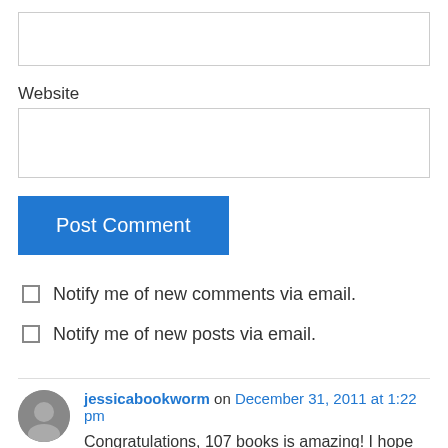[Figure (other): Empty text input field at the top of the form]
Website
[Figure (other): Website URL text input field]
[Figure (other): Blue 'Post Comment' button]
Notify me of new comments via email.
Notify me of new posts via email.
jessicabookworm on December 31, 2011 at 1:22 pm
Congratulations, 107 books is amazing! I hope 2012 is an even better year for you 🙂